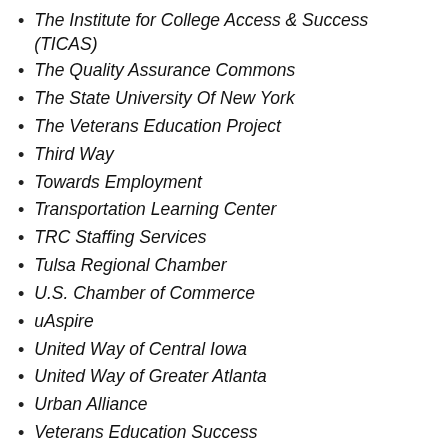The Institute for College Access & Success (TICAS)
The Quality Assurance Commons
The State University Of New York
The Veterans Education Project
Third Way
Towards Employment
Transportation Learning Center
TRC Staffing Services
Tulsa Regional Chamber
U.S. Chamber of Commerce
uAspire
United Way of Central Iowa
United Way of Greater Atlanta
Urban Alliance
Veterans Education Success
Virginia Community College System
Webber Center for New Research...